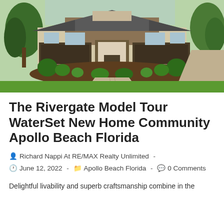[Figure (photo): Exterior photo of the Rivergate model home at WaterSet community in Apollo Beach Florida. A craftsman-style single-story home with stone and wood accents, two-car garage, landscaped front yard with tropical plants, and a paved stone walkway leading to the front door.]
The Rivergate Model Tour WaterSet New Home Community Apollo Beach Florida
Richard Nappi At RE/MAX Realty Unlimited  -  June 12, 2022  -  Apollo Beach Florida  -  0 Comments
Delightful livability and superb craftsmanship combine in the